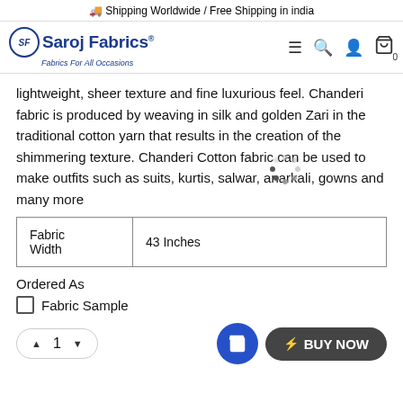🚚 Shipping Worldwide / Free Shipping in india
[Figure (logo): Saroj Fabrics logo with oval SF emblem. Text reads: Saroj Fabrics® — Fabrics For All Occasions]
lightweight, sheer texture and fine luxurious feel. Chanderi fabric is produced by weaving in silk and golden Zari in the traditional cotton yarn that results in the creation of the shimmering texture. Chanderi Cotton fabric can be used to make outfits such as suits, kurtis, salwar, anarkali, gowns and many more
| Fabric Width | 43 Inches |
Ordered As
Fabric Sample